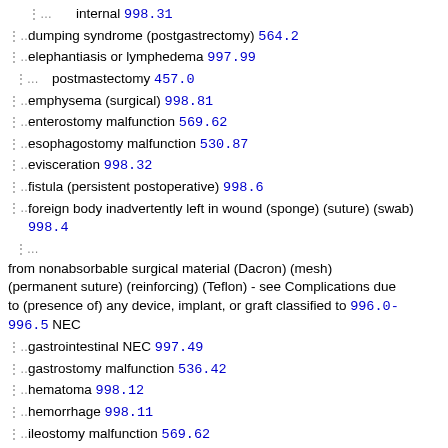internal 998.31
dumping syndrome (postgastrectomy) 564.2
elephantiasis or lymphedema 997.99
postmastectomy 457.0
emphysema (surgical) 998.81
enterostomy malfunction 569.62
esophagostomy malfunction 530.87
evisceration 998.32
fistula (persistent postoperative) 998.6
foreign body inadvertently left in wound (sponge) (suture) (swab) 998.4
from nonabsorbable surgical material (Dacron) (mesh) (permanent suture) (reinforcing) (Teflon) - see Complications due to (presence of) any device, implant, or graft classified to 996.0-996.5 NEC
gastrointestinal NEC 997.49
gastrostomy malfunction 536.42
hematoma 998.12
hemorrhage 998.11
ileostomy malfunction 569.62
internal prosthetic device NEC (see also Complications, internal device) 996.70
hemolytic anemia 283.19